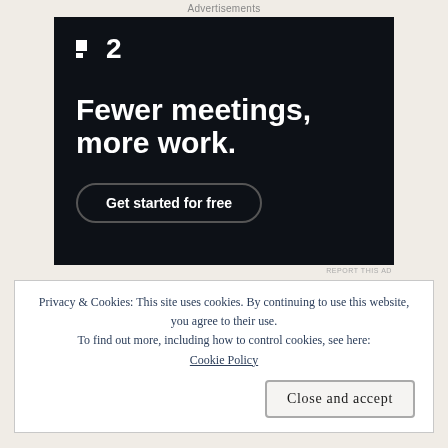Advertisements
[Figure (other): Advertisement for F2 project management software. Dark background with white F2 logo (two small squares and the number 2), bold white headline 'Fewer meetings, more work.' and a rounded button 'Get started for free'.]
REPORT THIS AD
Privacy & Cookies: This site uses cookies. By continuing to use this website, you agree to their use.
To find out more, including how to control cookies, see here:
Cookie Policy
Close and accept
M